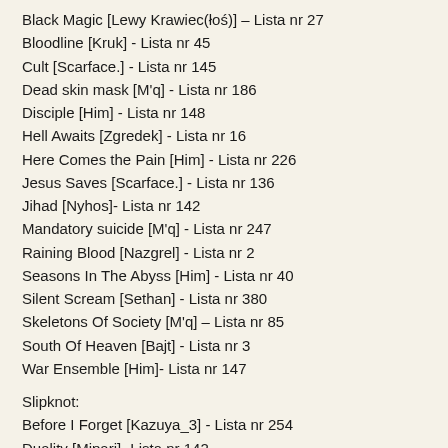Black Magic [Lewy Krawiec(łoś)] – Lista nr 27
Bloodline [Kruk] - Lista nr 45
Cult [Scarface.] - Lista nr 145
Dead skin mask [M'q] - Lista nr 186
Disciple [Him] - Lista nr 148
Hell Awaits [Zgredek] - Lista nr 16
Here Comes the Pain [Him] - Lista nr 226
Jesus Saves [Scarface.] - Lista nr 136
Jihad [Nyhos]- Lista nr 142
Mandatory suicide [M'q] - Lista nr 247
Raining Blood [Nazgrel] - Lista nr 2
Seasons In The Abyss [Him] - Lista nr 40
Silent Scream [Sethan] - Lista nr 380
Skeletons Of Society [M'q] – Lista nr 85
South Of Heaven [Bajt] - Lista nr 3
War Ensemble [Him]- Lista nr 147
Slipknot:
Before I Forget [Kazuya_3] - Lista nr 254
Duality [Mipari]- Lista nr 142
Eyeless [paul665anka] - Lista nr 417
Left Behind [Smutny MIś] - Lista nr 439
My Plague [ Zupsky z Bree ] - Lista nr 422
People = Shit [m1a87z] – Lista nr 119
Surfacing [paul665anka] - Lista nr 349